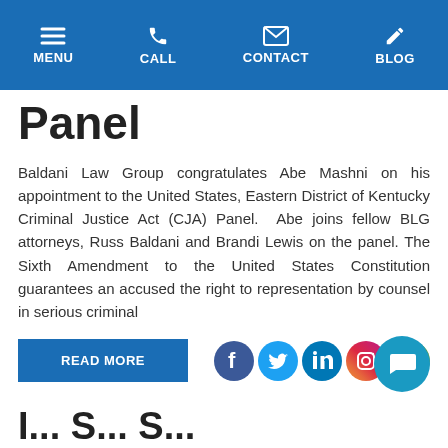MENU  CALL  CONTACT  BLOG
Panel
Baldani Law Group congratulates Abe Mashni on his appointment to the United States, Eastern District of Kentucky Criminal Justice Act (CJA) Panel.  Abe joins fellow BLG attorneys, Russ Baldani and Brandi Lewis on the panel. The Sixth Amendment to the United States Constitution guarantees an accused the right to representation by counsel in serious criminal
READ MORE
[Figure (other): Social media icons: Facebook, Twitter, LinkedIn, Instagram, Email]
[Figure (other): Chat button icon]